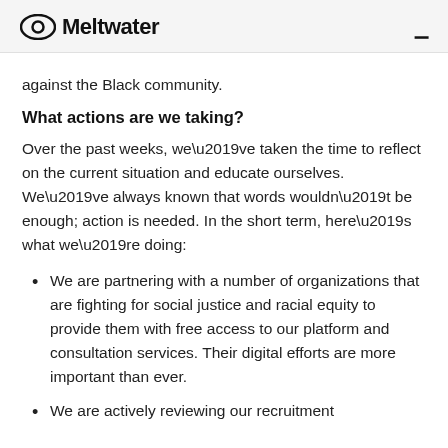Meltwater
against the Black community.
What actions are we taking?
Over the past weeks, we’ve taken the time to reflect on the current situation and educate ourselves. We’ve always known that words wouldn’t be enough; action is needed. In the short term, here’s what we’re doing:
We are partnering with a number of organizations that are fighting for social justice and racial equity to provide them with free access to our platform and consultation services. Their digital efforts are more important than ever.
We are actively reviewing our recruitment